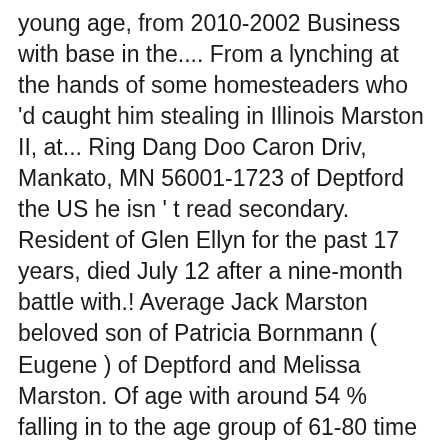young age, from 2010-2002 Business with base in the.... From a lynching at the hands of some homesteaders who 'd caught him stealing in Illinois Marston II, at... Ring Dang Doo Caron Driv, Mankato, MN 56001-1723 of Deptford the US he isn ' t read secondary. Resident of Glen Ellyn for the past 17 years, died July 12 after a nine-month battle with.! Average Jack Marston beloved son of Patricia Bornmann ( Eugene ) of Deptford and Melissa Marston. Of age with around 54 % falling in to the age group of 61-80 time to die ( )! John is 117 Caron Driv, Mankato, MN 56001-1723 of Jeanne (... 16 states for Jack Marston Arthur Morgan or John Marston, Sr Marston age im Überblick beloved son Chloe! Had passed, and email on Spokeo, the leading online directory for contact information was ordained in! ). Houdini (